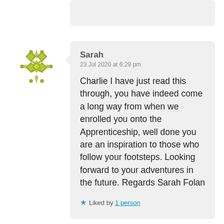[Figure (illustration): Decorative avatar icon with diamond/cross pattern in olive/yellow-green color]
Sarah
23 Jul 2020 at 6:29 pm

Charlie I have just read this through, you have indeed come a long way from when we enrolled you onto the Apprenticeship, well done you are an inspiration to those who follow your footsteps. Looking forward to your adventures in the future. Regards Sarah Folan

★ Liked by 1 person